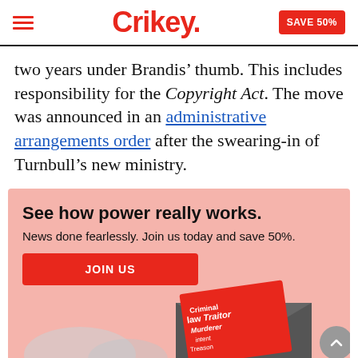Crikey. SAVE 50%
two years under Brandis’ thumb. This includes responsibility for the Copyright Act. The move was announced in an administrative arrangements order after the swearing-in of Turnbull’s new ministry.
[Figure (infographic): Promotional subscription box with pink background, bold headline 'See how power really works.', subtext 'News done fearlessly. Join us today and save 50%.', a red JOIN US button, and a decorative illustration of an envelope with news-themed text words.]
See how power really works.
News done fearlessly. Join us today and save 50%.